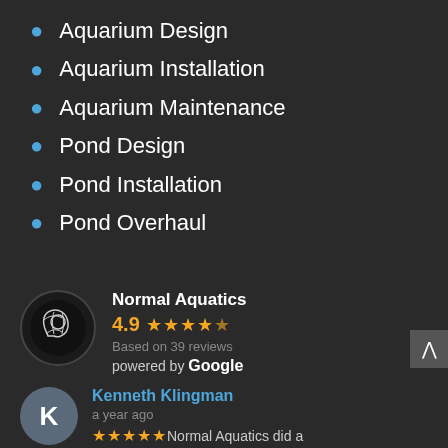Aquarium Design
Aquarium Installation
Aquarium Maintenance
Pond Design
Pond Installation
Pond Overhaul
Normal Aquatics
4.9 ★★★★½
Based on 39 reviews
powered by Google
Kenneth Klingman
a year ago
★★★★★ Normal Aquatics did a great job getting our pond back up...